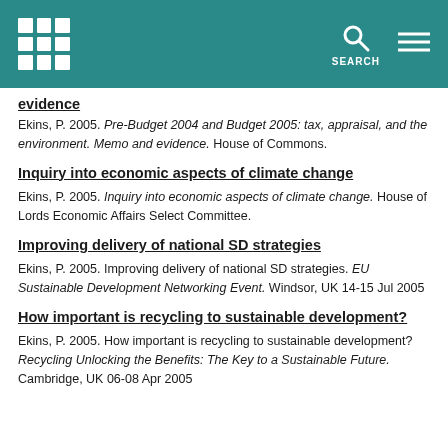evidence
Ekins, P. 2005. Pre-Budget 2004 and Budget 2005: tax, appraisal, and the environment. Memo and evidence. House of Commons.
Inquiry into economic aspects of climate change
Ekins, P. 2005. Inquiry into economic aspects of climate change. House of Lords Economic Affairs Select Committee.
Improving delivery of national SD strategies
Ekins, P. 2005. Improving delivery of national SD strategies. EU Sustainable Development Networking Event. Windsor, UK 14-15 Jul 2005
How important is recycling to sustainable development?
Ekins, P. 2005. How important is recycling to sustainable development? Recycling Unlocking the Benefits: The Key to a Sustainable Future. Cambridge, UK 06-08 Apr 2005